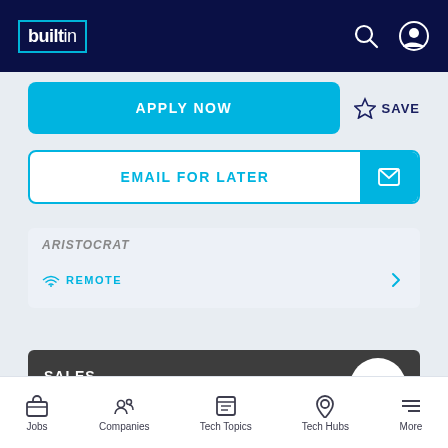builtin
APPLY NOW
SAVE
EMAIL FOR LATER
ARISTOCRAT
REMOTE
SALES
Enterprise Account Executive
Jobs   Companies   Tech Topics   Tech Hubs   More